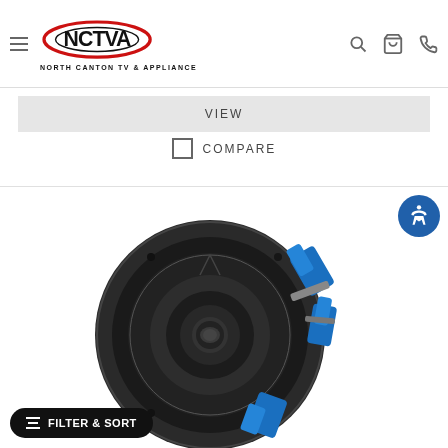NCTVA - North Canton TV & Appliance
VIEW
COMPARE
[Figure (photo): A ceiling speaker (in-ceiling speaker) with a black round grille and blue mounting clips/brackets, shown from a front-angle view against a white background.]
FILTER & SORT